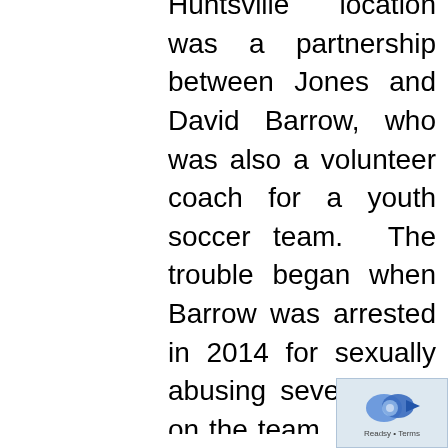Huntsville location was a partnership between Jones and David Barrow, who was also a volunteer coach for a youth soccer team. The trouble began when Barrow was arrested in 2014 for sexually abusing several girls on the team. Around the time of the arrest, Barrow's wife Ann filed for divorce, and the family court ordered him to pay her $800,000, representing the value of most of their marital property. Realizing that there was less money in the company's accounts than he had expected, Barrow sued Jones for mismanaging and stealing